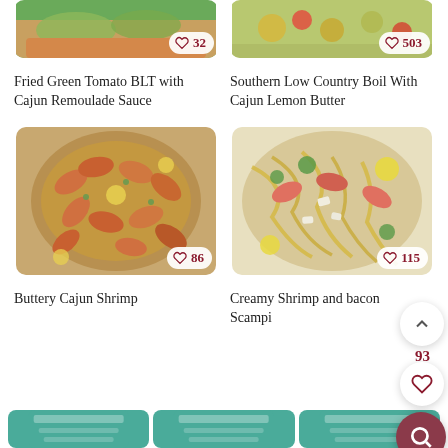[Figure (photo): Partial top image of Fried Green Tomato BLT sandwich with lettuce]
[Figure (photo): Partial top image of Southern Low Country Boil with vegetables]
Fried Green Tomato BLT with Cajun Remoulade Sauce
Southern Low Country Boil With Cajun Lemon Butter
[Figure (photo): Buttery Cajun Shrimp in a pan with lemon]
[Figure (photo): Creamy Shrimp and bacon Scampi with pasta and lemon]
Buttery Cajun Shrimp
Creamy Shrimp and bacon Scampi
[Figure (screenshot): Bottom row of recipe card teasers with teal/green backgrounds]